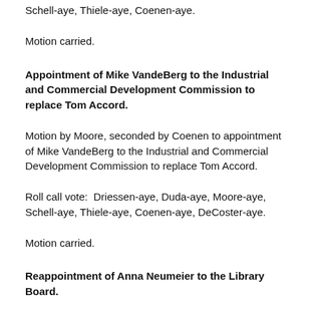Schell-aye, Thiele-aye, Coenen-aye.
Motion carried.
Appointment of Mike VandeBerg to the Industrial and Commercial Development Commission to replace Tom Accord.
Motion by Moore, seconded by Coenen to appointment of Mike VandeBerg to the Industrial and Commercial Development Commission to replace Tom Accord.
Roll call vote:  Driessen-aye, Duda-aye, Moore-aye, Schell-aye, Thiele-aye, Coenen-aye, DeCoster-aye.
Motion carried.
Reappointment of Anna Neumeier to the Library Board.
Motion by Driessen, seconded by DeCoster to reappoint Anna